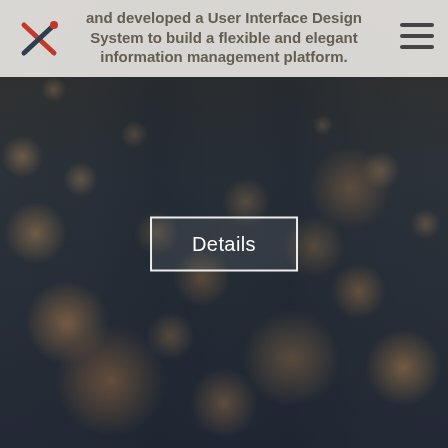[Figure (screenshot): Website hero section with dark bokeh background photo showing blurred colorful circles of light (orange, amber, brown tones against dark blue-grey), a navigation header bar with logo on left, hamburger menu on right, and bold title text. A 'Details' button with white outline appears centered over the background image.]
and developed a User Interface Design System to build a flexible and elegant information management platform.
Details